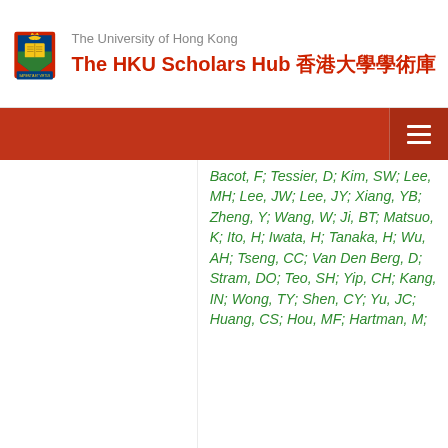The University of Hong Kong — The HKU Scholars Hub 香港大學學術庫
Bacot, F; Tessier, D; Kim, SW; Lee, MH; Lee, JW; Lee, JY; Xiang, YB; Zheng, Y; Wang, W; Ji, BT; Matsuo, K; Ito, H; Iwata, H; Tanaka, H; Wu, AH; Tseng, CC; Van Den Berg, D; Stram, DO; Teo, SH; Yip, CH; Kang, IN; Wong, TY; Shen, CY; Yu, JC; Huang, CS; Hou, MF; Hartman, M;